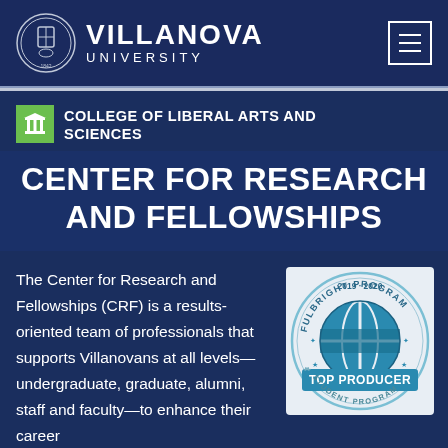VILLANOVA UNIVERSITY
COLLEGE OF LIBERAL ARTS AND SCIENCES
CENTER FOR RESEARCH AND FELLOWSHIPS
The Center for Research and Fellowships (CRF) is a results-oriented team of professionals that supports Villanovans at all levels—undergraduate, graduate, alumni, staff and faculty—to enhance their career
[Figure (logo): Fulbright Program 2019-2020 Top Producer Student Program seal/badge in blue and grey tones]